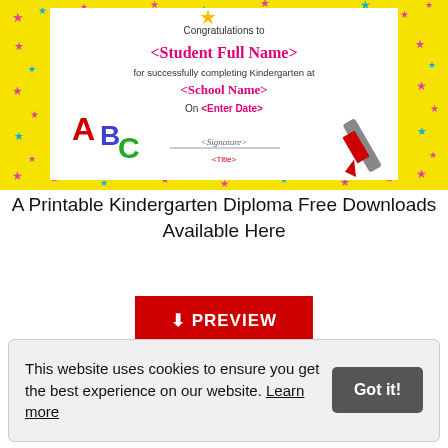[Figure (illustration): A printable kindergarten diploma certificate with colorful star border, ABC letters, crayon illustration, placeholder fields for student name, school name, date, signature and title.]
A Printable Kindergarten Diploma Free Downloads Available Here
[Figure (other): Red PREVIEW download button]
This website uses cookies to ensure you get the best experience on our website. Learn more